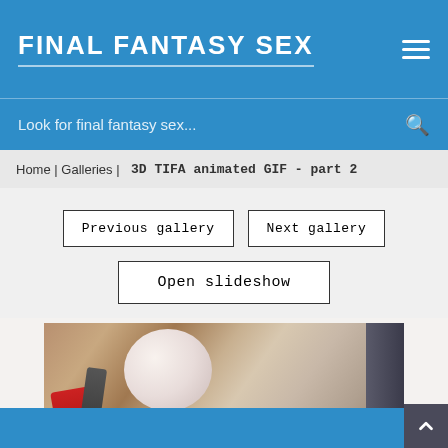FINAL FANTASY SEX
Look for final fantasy sex...
Home | Galleries | 3D TIFA animated GIF - part 2
Previous gallery
Next gallery
Open slideshow
[Figure (photo): 3D rendered image showing animated GIF content from Final Fantasy - part 2 gallery, depicting 3D rendered characters against a wooden floor background with red and dark mechanical elements]